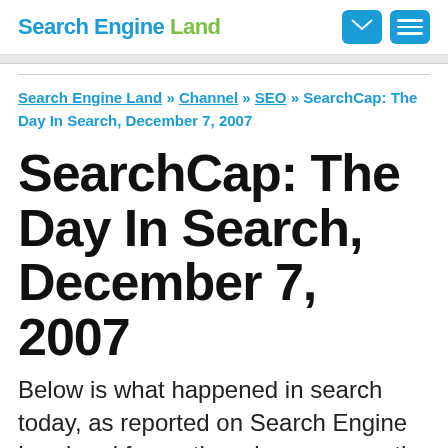Search Engine Land
Search Engine Land » Channel » SEO » SearchCap: The Day In Search, December 7, 2007
SearchCap: The Day In Search, December 7, 2007
Below is what happened in search today, as reported on Search Engine Land and from other places across the web. From